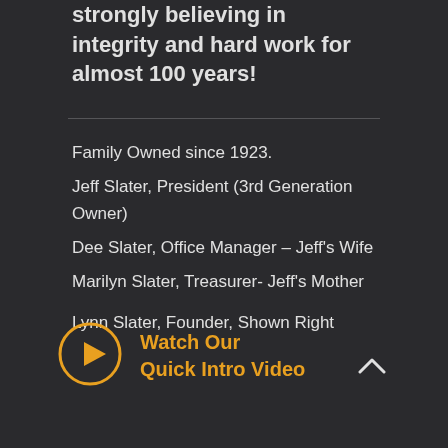strongly believing in integrity and hard work for almost 100 years!
Family Owned since 1923.
Jeff Slater, President (3rd Generation Owner)
Dee Slater, Office Manager – Jeff's Wife
Marilyn Slater, Treasurer- Jeff's Mother

Lynn Slater, Founder, Shown Right
[Figure (other): Orange circle play button icon with triangle inside]
Watch Our
Quick Intro Video